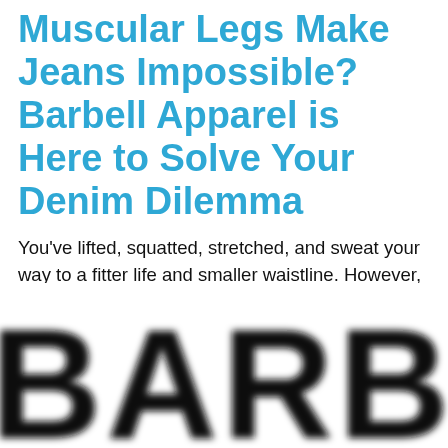Muscular Legs Make Jeans Impossible? Barbell Apparel is Here to Solve Your Denim Dilemma
You've lifted, squatted, stretched, and sweat your way to a fitter life and smaller waistline. However, you've also built up muscle in your thighs, calves, and butt, which can make slipping into your favorite pair (or any pair) of jeans a bigger challenge than you may expect.
[Figure (photo): Close-up blurred image of large bold black letters spelling 'BARBE...' (beginning of 'BARBELL') on a white background, cropped at the bottom of the page.]